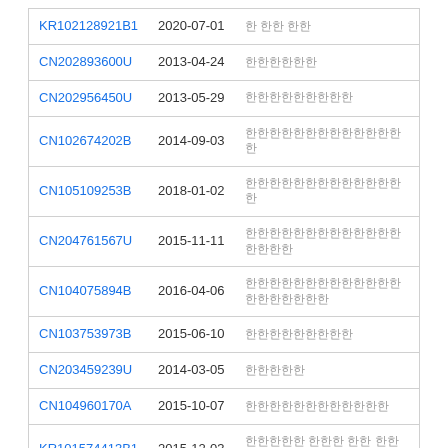| Patent ID | Date | Title |
| --- | --- | --- |
| KR102128921B1 | 2020-07-01 | 한 한한 한한 |
| CN202893600U | 2013-04-24 | 한한한한한한 |
| CN202956450U | 2013-05-29 | 한한한한한한한한한 |
| CN102674202B | 2014-09-03 | 한한한한한한한한한한한한한한 |
| CN105109253B | 2018-01-02 | 한한한한한한한한한한한한한한 |
| CN204761567U | 2015-11-11 | 한한한한한한한한한한한한한한한한한 |
| CN104075894B | 2016-04-06 | 한한한한한한한한한한한한한한한한한한한한 |
| CN103753973B | 2015-06-10 | 한한한한한한한한한 |
| CN203459239U | 2014-03-05 | 한한한한한 |
| CN104960170A | 2015-10-07 | 한한한한한한한한한한한한 |
| KR101574413B1 | 2015-12-03 | 한한한한한 한한한 한한 한한한한 |
Priority And Related Applications